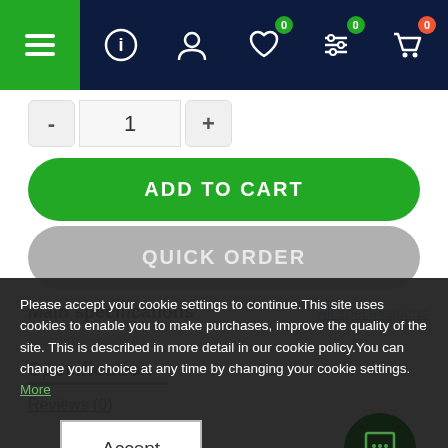[Figure (screenshot): Navigation bar with hamburger menu (green), info icon, user icon, heart icon with badge 0 (green), filter/settings icon with badge 0 (green), and cart icon with badge 0 (red) on dark navy background]
- 1 +
ADD TO CART
QUICK ORDER
Main specifications
All specifications
Backlit keyboard
Specification
Reviews (0)
Please accept your cookie settings to continue.This site uses cookies to enable you to make purchases, improve the quality of the site. This is described in more detail in our cookie policy.You can change your choice at any time by changing your cookie settings. More
Accept